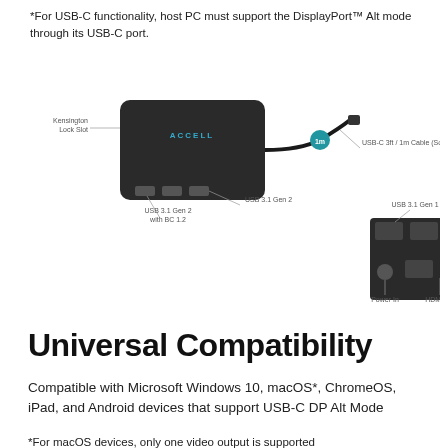*For USB-C functionality, host PC must support the DisplayPort™ Alt mode through its USB-C port.
[Figure (engineering-diagram): Diagram of Accell USB-C hub showing front and back views. Front view labels: Kensington Lock Slot, USB 3.1 Gen 2, USB 3.1 Gen 2 with BC 1.2, USB-C 3ft / 1m Cable (Source). Back view labels: USB 3.1 Gen 1, Power In, HDMI 2.0. A 1m cable indicator badge is shown connecting the two views.]
Universal Compatibility
Compatible with Microsoft Windows 10, macOS*, ChromeOS, iPad, and Android devices that support USB-C DP Alt Mode
*For macOS devices, only one video output is supported